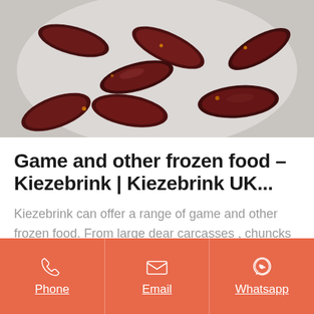[Figure (photo): Photo of dark reddish-brown sausages or game meat pieces scattered on a white plate, close-up food photography]
Game and other frozen food - Kiezebrink | Kiezebrink UK...
Kiezebrink can offer a range of game and other frozen food. From large dear carcasses , chuncks and mince. Next day delivery if you order before 11:30 on Monday - Thursday! Kiezebrink can
Phone | Email | Whatsapp